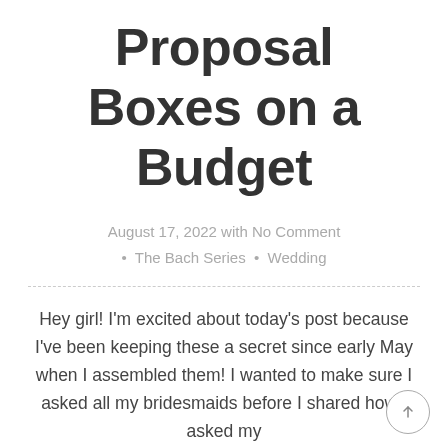Proposal Boxes on a Budget
August 17, 2022 with No Comment · The Bach Series · Wedding
Hey girl! I'm excited about today's post because I've been keeping these a secret since early May when I assembled them! I wanted to make sure I asked all my bridesmaids before I shared how I asked my